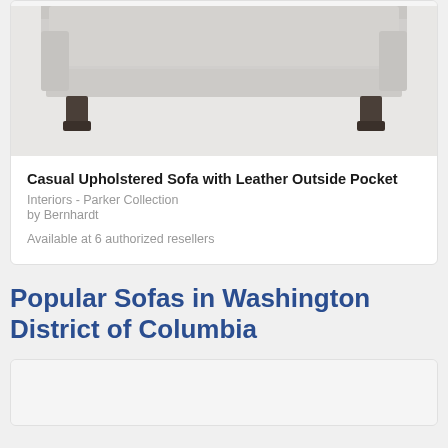[Figure (photo): Partial view of a light gray upholstered sofa with dark wooden legs on a white background, cropped at top]
Casual Upholstered Sofa with Leather Outside Pocket
Interiors - Parker Collection
by Bernhardt
Available at 6 authorized resellers
Popular Sofas in Washington District of Columbia
[Figure (photo): Partial view of another sofa product card, only the top white background area visible]